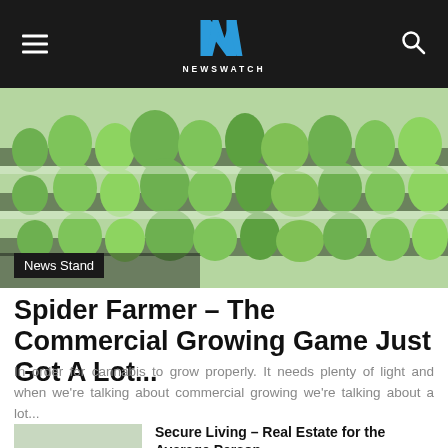NEWSWATCH
[Figure (photo): Overhead view of green cannabis or vegetable seedlings growing in a commercial hydroponic setup]
Spider Farmer – The Commercial Growing Game Just Got A Lot...
In order for cannabis to grow properly. It needs plenty of light and when we're talking about commercial growing we're talking about a lot...
Secure Living – Real Estate for the Average Person
Movie Talk – Prey